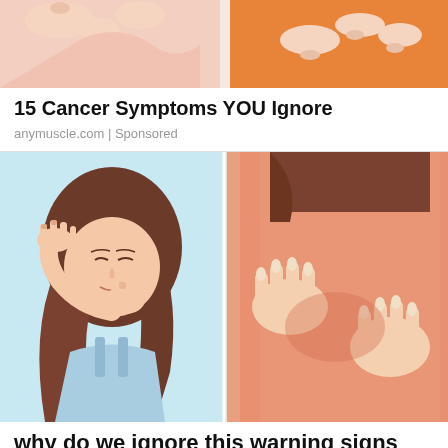[Figure (illustration): Partial illustration showing cartoon/animated style depictions of medical symptoms - cropped at top, showing hands and body parts with pink and orange colors]
15 Cancer Symptoms YOU Ignore
anymuscle.com | Sponsored
[Figure (illustration): Two-panel cartoon/animated illustration: left panel shows a woman with brown hair pulling her hair back and biting her nails with closed eyes, light blue background; right panel shows a close-up of hands pressing on a person's reddish back/neck area]
why do we ignore this warning signs
Health | Sponsored